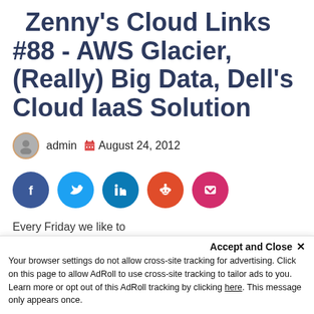Zenny's Cloud Links #88 - AWS Glacier, (Really) Big Data, Dell's Cloud IaaS Solution
admin  August 24, 2012
[Figure (other): Social sharing buttons: Facebook, Twitter, LinkedIn, Reddit, Pocket]
Every Friday we like to
Accept and Close ×
Your browser settings do not allow cross-site tracking for advertising. Click on this page to allow AdRoll to use cross-site tracking to tailor ads to you. Learn more or opt out of this AdRoll tracking by clicking here. This message only appears once.